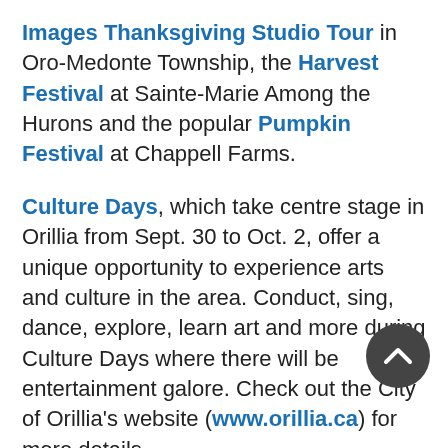Images Thanksgiving Studio Tour in Oro-Medonte Township, the Harvest Festival at Sainte-Marie Among the Hurons and the popular Pumpkin Festival at Chappell Farms.
Culture Days, which take centre stage in Orillia from Sept. 30 to Oct. 2, offer a unique opportunity to experience arts and culture in the area. Conduct, sing, dance, explore, learn art and more during Culture Days where there will be entertainment galore. Check out the City of Orillia's website (www.orillia.ca) for more details.
Traditionally, fall is a time of harvest – and a perfect time to check out our popular farmers' markets. It's also a time when chefs are using their bounty to create unique seasonal dishes during the tasty